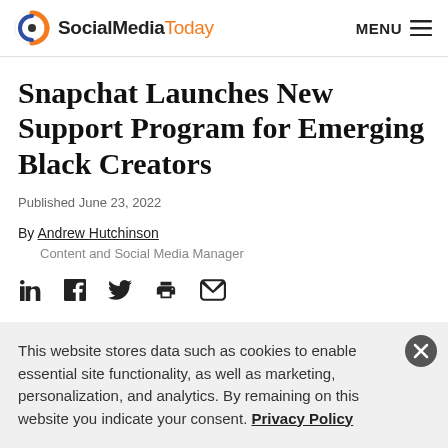SocialMediaToday  MENU
Snapchat Launches New Support Program for Emerging Black Creators
Published June 23, 2022
By Andrew Hutchinson
Content and Social Media Manager
[Figure (other): Social sharing icons: LinkedIn, Facebook, Twitter, print, email]
This website stores data such as cookies to enable essential site functionality, as well as marketing, personalization, and analytics. By remaining on this website you indicate your consent. Privacy Policy